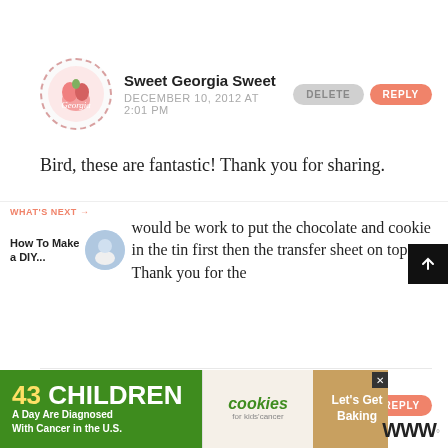[Figure (illustration): Circular avatar with pink peach/strawberry illustration surrounded by dashed border]
Sweet Georgia Sweet
DECEMBER 10, 2012 AT 2:01 PM
Bird, these are fantastic! Thank you for sharing.
[Figure (illustration): Pink heart icon button (like)]
[Figure (illustration): Share icon button]
Reine
DECEMBER 10, 2012 AT 3:14 PM
WHAT'S NEXT → How To Make a DIY...
would be work to put the chocolate and cookie in the tin first then the transfer sheet on top? Thank you for the tu...
[Figure (photo): Small thumbnail image for 'How To Make a DIY...' article]
[Figure (illustration): Scroll to top button, dark background with up arrow]
[Figure (infographic): Advertisement banner: 43 CHILDREN A Day Are Diagnosed With Cancer in the U.S. cookies for kids cancer Let's Get Baking]
[Figure (logo): Masthead logo with stylized W and degree symbol]